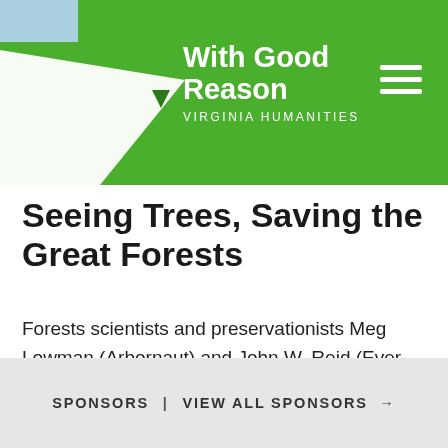With Good Reason — Virginia Humanities
Seeing Trees, Saving the Great Forests
Forests scientists and preservationists Meg Lowman (Arbornaut) and John W. Reid (Ever Green) share their work and experience traveling and studying the great forests of the world, including the immediate ...
SPONSORS | VIEW ALL SPONSORS →